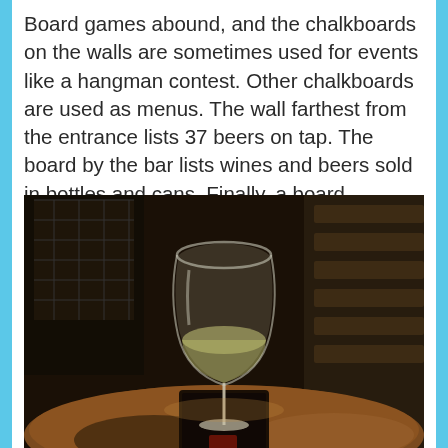Board games abound, and the chalkboards on the walls are sometimes used for events like a hangman contest. Other chalkboards are used as menus. The wall farthest from the entrance lists 37 beers on tap. The board by the bar lists wines and beers sold in bottles and cans. Finally, a board opposite the bar displays the small, simple food menu.
[Figure (photo): A wine glass filled with white wine sitting on a dark wooden coaster on a round copper/brown table, in a dimly lit bar setting with wooden furniture and a dark background.]